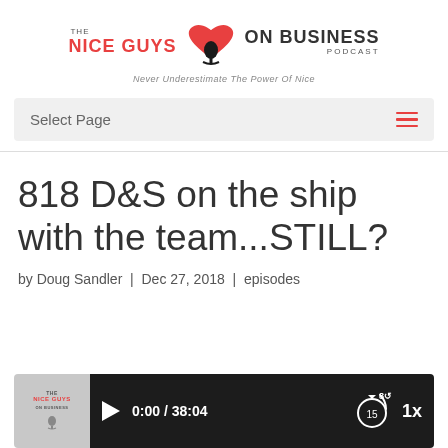[Figure (logo): The Nice Guys on Business Podcast logo with red heart and microphone graphic, tagline: Never Underestimate The Power Of Nice]
Select Page
818 D&S on the ship with the team...STILL?
by Doug Sandler | Dec 27, 2018 | episodes
[Figure (screenshot): Audio player bar showing thumbnail, play button, time 0:00 / 38:04, rewind 15 button, and 1x speed control]